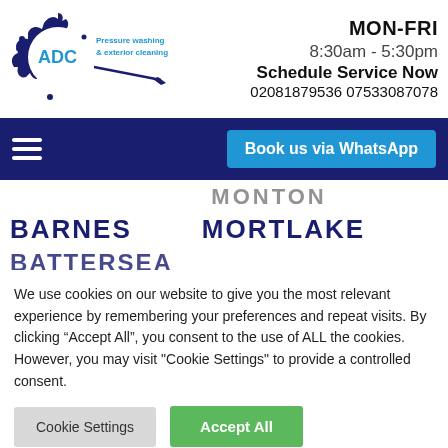[Figure (logo): ADC Pressure washing & exterior cleaning logo — circular splash/gear shape in dark blue with 'ADC' text in blue and a pressure washer illustration]
MON-FRI
8:30am - 5:30pm
Schedule Service Now
02081879536 07533087078
[Figure (other): Navigation bar with hamburger menu icon on left and 'Book us via WhatsApp' blue button on right, on dark navy background]
MONTON
BARNES
MORTLAKE
BATTERSEA
We use cookies on our website to give you the most relevant experience by remembering your preferences and repeat visits. By clicking "Accept All", you consent to the use of ALL the cookies. However, you may visit "Cookie Settings" to provide a controlled consent.
Cookie Settings
Accept All